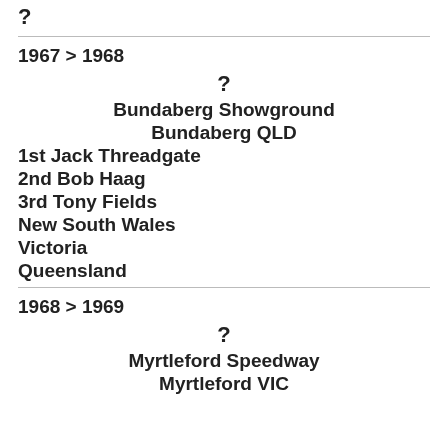?
1967 > 1968
?
Bundaberg Showground
Bundaberg QLD
1st Jack Threadgate
2nd Bob Haag
3rd Tony Fields
New South Wales
Victoria
Queensland
1968 > 1969
?
Myrtleford Speedway
Myrtleford VIC